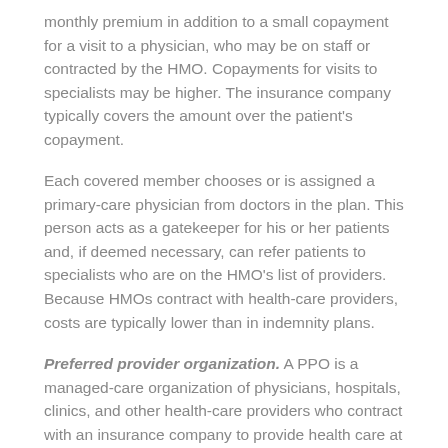monthly premium in addition to a small copayment for a visit to a physician, who may be on staff or contracted by the HMO. Copayments for visits to specialists may be higher. The insurance company typically covers the amount over the patient's copayment.
Each covered member chooses or is assigned a primary-care physician from doctors in the plan. This person acts as a gatekeeper for his or her patients and, if deemed necessary, can refer patients to specialists who are on the HMO's list of providers. Because HMOs contract with health-care providers, costs are typically lower than in indemnity plans.
Preferred provider organization. A PPO is a managed-care organization of physicians, hospitals, clinics, and other health-care providers who contract with an insurance company to provide health care at reduced rates to individuals insured in the plan. The insurance company uses actuarial tables to